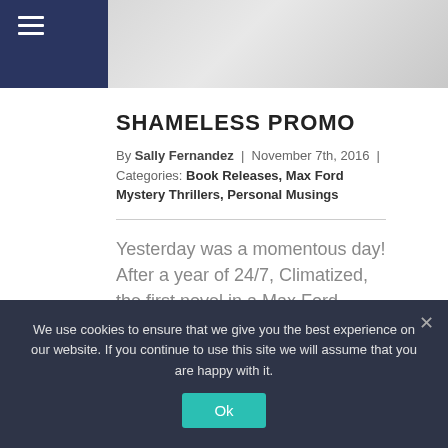SHAMELESS PROMO – website header with navigation
SHAMELESS PROMO
By Sally Fernandez | November 7th, 2016 | Categories: Book Releases, Max Ford Mystery Thrillers, Personal Musings
Yesterday was a momentous day! After a year of 24/7, Climatized, the first novel in a Max Ford Thriller series, was released. But it was also the culmination of eight years of
We use cookies to ensure that we give you the best experience on our website. If you continue to use this site we will assume that you are happy with it.